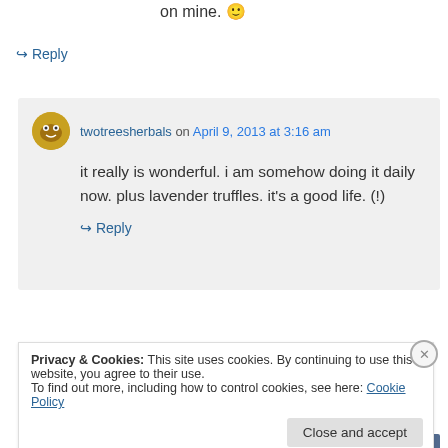on mine. 🙂
↳ Reply
twotreesherbals on April 9, 2013 at 3:16 am
it really is wonderful. i am somehow doing it daily now. plus lavender truffles. it's a good life. (!)
↳ Reply
Privacy & Cookies: This site uses cookies. By continuing to use this website, you agree to their use.
To find out more, including how to control cookies, see here: Cookie Policy
Close and accept